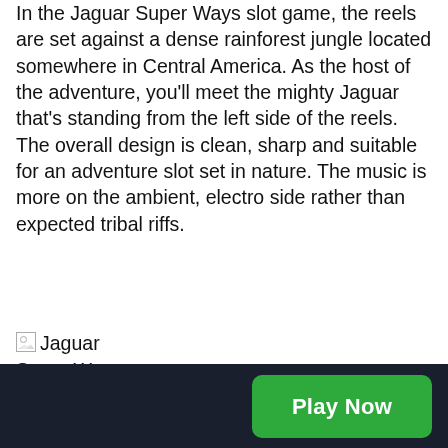In the Jaguar Super Ways slot game, the reels are set against a dense rainforest jungle located somewhere in Central America. As the host of the adventure, you'll meet the mighty Jaguar that's standing from the left side of the reels. The overall design is clean, sharp and suitable for an adventure slot set in nature. The music is more on the ambient, electro side rather than expected tribal riffs.
[Figure (photo): Broken image placeholder labeled 'Jaguar Super Ways']
Super Ways